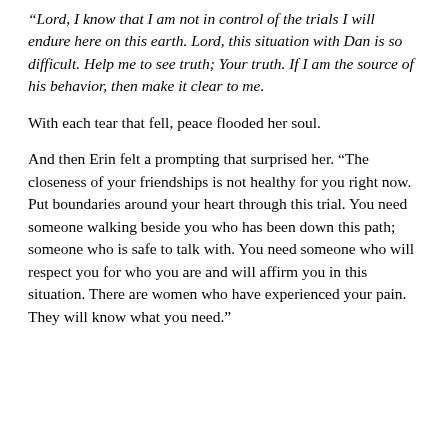“Lord, I know that I am not in control of the trials I will endure here on this earth. Lord, this situation with Dan is so difficult. Help me to see truth; Your truth. If I am the source of his behavior, then make it clear to me.
With each tear that fell, peace flooded her soul.
And then Erin felt a prompting that surprised her. “The closeness of your friendships is not healthy for you right now. Put boundaries around your heart through this trial. You need someone walking beside you who has been down this path; someone who is safe to talk with. You need someone who will respect you for who you are and will affirm you in this situation. There are women who have experienced your pain. They will know what you need.”